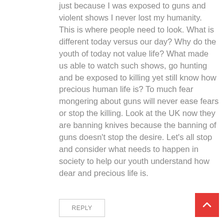just because I was exposed to guns and violent shows I never lost my humanity. This is where people need to look. What is different today versus our day? Why do the youth of today not value life? What made us able to watch such shows, go hunting and be exposed to killing yet still know how precious human life is? To much fear mongering about guns will never ease fears or stop the killing. Look at the UK now they are banning knives because the banning of guns doesn't stop the desire. Let's all stop and consider what needs to happen in society to help our youth understand how dear and precious life is.
REPLY